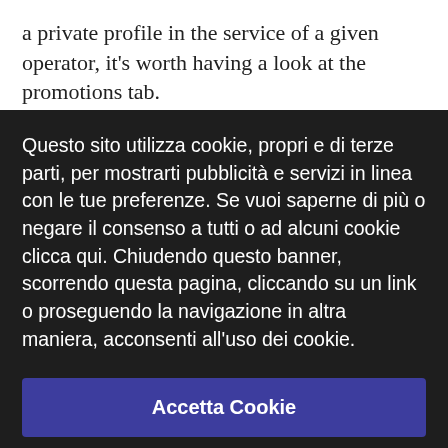a private profile in the service of a given operator, it's worth having a look at the promotions tab.
Questo sito utilizza cookie, propri e di terze parti, per mostrarti pubblicità e servizi in linea con le tue preferenze. Se vuoi saperne di più o negare il consenso a tutti o ad alcuni cookie clicca qui. Chiudendo questo banner, scorrendo questa pagina, cliccando su un link o proseguendo la navigazione in altra maniera, acconsenti all'uso dei cookie.
Accetta Cookie
Messaggio